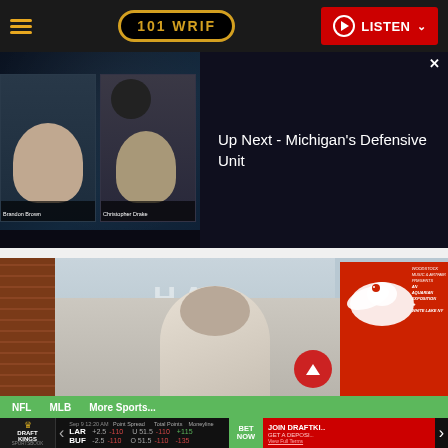101 WRIF | LISTEN
[Figure (screenshot): Video player showing two radio hosts with text 'Up Next - Michigan's Defensive Unit'. Ad 1 of 1 (0:30) overlay.]
[Figure (photo): Person standing at microphone on stage with 'HALL' projection behind and Woodstock 'An Aquarian Exposition White Lake NY' poster visible to right.]
NFL   MLB   More Sports...
DraftKings Sportsbook | Sep 9 12:20 AM | LAR +2.5 -110 | BUF -2.5 -110 | U 51.5 -110 | O 51.5 -110 | +115 | -135 | BET NOW | JOIN DRAFTKI... GET A DEPOSI... View Full Terms